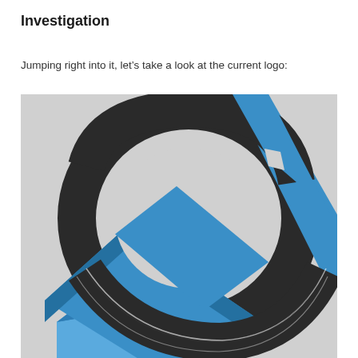Investigation
Jumping right into it, let’s take a look at the current logo:
[Figure (logo): A 3D stylized logo featuring a blue arrow-like angular shape passing through a dark charcoal/black torus ring, set against a light grey background. The blue element has a 3D box-like base on the lower left and a pointed upper right section, threaded through a large circular band.]